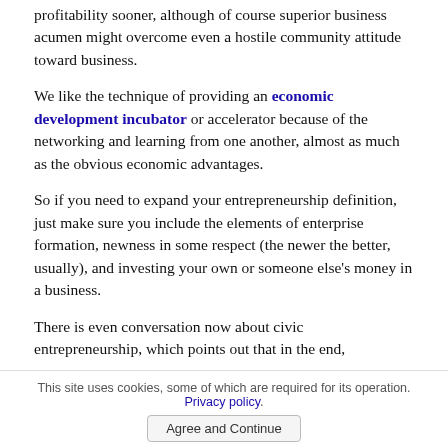profitability sooner, although of course superior business acumen might overcome even a hostile community attitude toward business.
We like the technique of providing an economic development incubator or accelerator because of the networking and learning from one another, almost as much as the obvious economic advantages.
So if you need to expand your entrepreneurship definition, just make sure you include the elements of enterprise formation, newness in some respect (the newer the better, usually), and investing your own or someone else's money in a business.
There is even conversation now about civic entrepreneurship, which points out that in the end,
This site uses cookies, some of which are required for its operation. Privacy policy. Agree and Continue